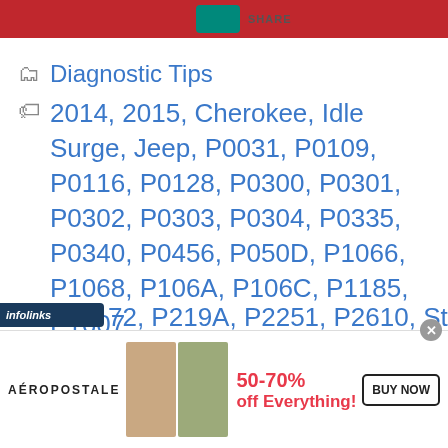[Figure (screenshot): Top navigation bar with red background, teal share button, and SHARE text label]
Diagnostic Tips
2014, 2015, Cherokee, Idle Surge, Jeep, P0031, P0109, P0116, P0128, P0300, P0301, P0302, P0303, P0304, P0335, P0340, P0456, P050D, P1066, P1068, P106A, P106C, P1185, P1607, ...72, P219A, P2251, P2610, Startup...
[Figure (screenshot): Infolinks bar overlay and Aeropostale advertisement banner at bottom showing 50-70% off Everything with BUY NOW button]